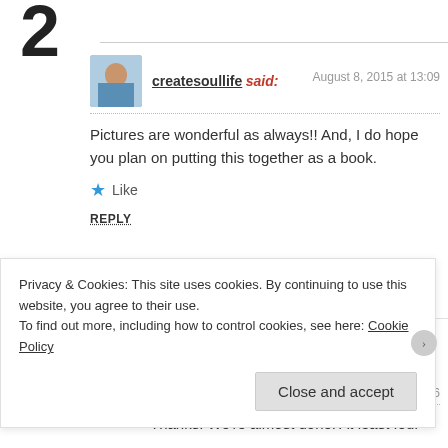2
createsoullife said: August 8, 2015 at 13:09
Pictures are wonderful as always!! And, I do hope you plan on putting this together as a book.
Like
REPLY
charlesjsawyer said: August 8, 2015 at 13:16
Thanks! We're almost done. At least four
Privacy & Cookies: This site uses cookies. By continuing to use this website, you agree to their use. To find out more, including how to control cookies, see here: Cookie Policy
Close and accept